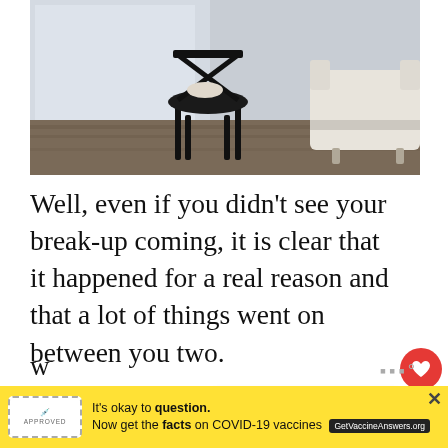[Figure (photo): Person sitting on a black chair near a window, with a white sofa partially visible on the right, hardwood floor, minimalist interior]
Well, even if you didn't see your break-up coming, it is clear that it happened for a real reason and that a lot of things went on between you two.
And instead of asking for closure from your ex, use this post break-up period to contemplate your entire relationship and w...
[Figure (other): COVID-19 vaccine advertisement banner: It's okay to question. Now get the facts on COVID-19 vaccines. GetVaccineAnswers.org]